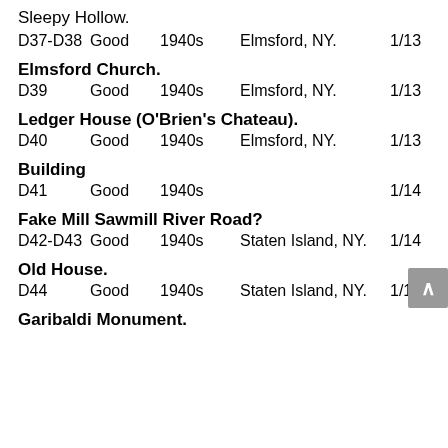Sleepy Hollow.
D37-D38    Good             1940s    Elmsford, NY.    1/13
Elmsford Church.
D39         Good             1940s    Elmsford, NY.    1/13
Ledger House (O'Brien's Chateau).
D40         Good             1940s    Elmsford, NY.    1/13
Building
D41         Good             1940s                      1/14
Fake Mill Sawmill River Road?
D42-D43    Good             1940s    Staten Island, NY.  1/14
Old House.
D44         Good             1940s    Staten Island, NY.  1/14
Garibaldi Monument.